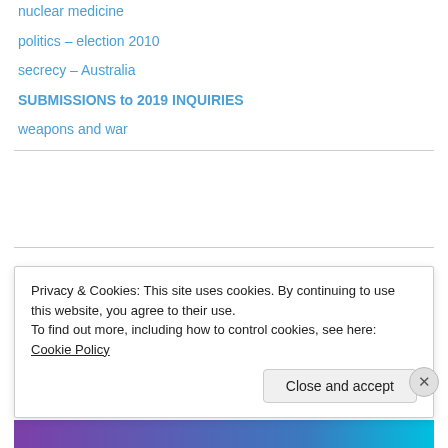nuclear medicine
politics – election 2010
secrecy – Australia
SUBMISSIONS to 2019 INQUIRIES
weapons and war
Advertisements
Privacy & Cookies: This site uses cookies. By continuing to use this website, you agree to their use.
To find out more, including how to control cookies, see here: Cookie Policy
Close and accept